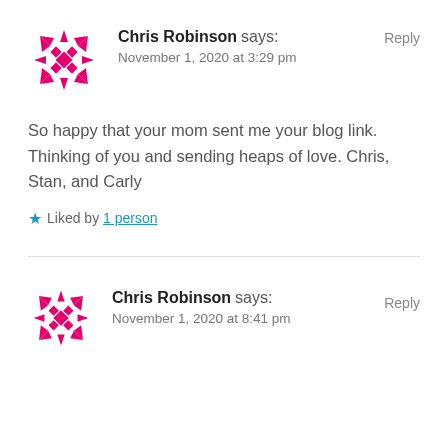[Figure (logo): Pink geometric snowflake/star avatar icon for Chris Robinson]
Chris Robinson says:
November 1, 2020 at 3:29 pm
Reply
So happy that your mom sent me your blog link. Thinking of you and sending heaps of love. Chris, Stan, and Carly
★ Liked by 1 person
[Figure (logo): Pink geometric snowflake/star avatar icon for Chris Robinson]
Chris Robinson says:
November 1, 2020 at 8:41 pm
Reply